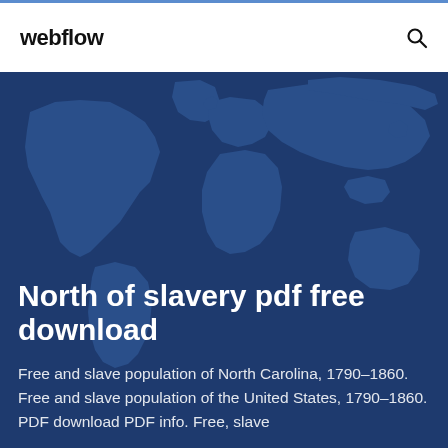webflow
[Figure (map): Dark blue world map silhouette used as background for hero section]
North of slavery pdf free download
Free and slave population of North Carolina, 1790–1860. Free and slave population of the United States, 1790–1860. PDF download PDF info. Free, slave